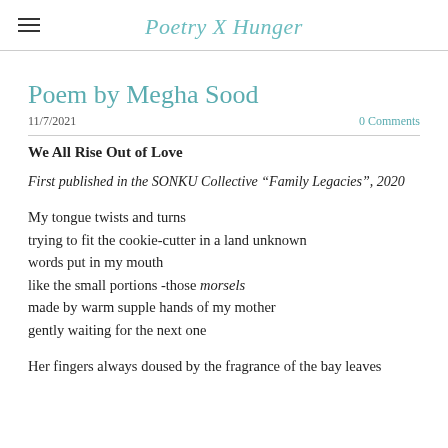Poetry X Hunger
Poem by Megha Sood
11/7/2021   0 Comments
We All Rise Out of Love
First published in the SONKU Collective “Family Legacies”, 2020
My tongue twists and turns
trying to fit the cookie-cutter in a land unknown
words put in my mouth
like the small portions -those morsels
made by warm supple hands of my mother
gently waiting for the next one
Her fingers always doused by the fragrance of the bay leaves